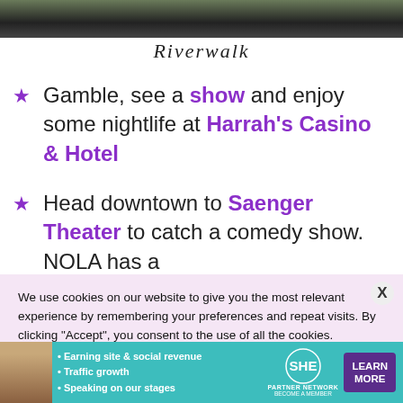[Figure (photo): Partial photo showing a riverwalk or outdoor path, darkened at bottom, cropped at top of page.]
Riverwalk
Gamble, see a show and enjoy some nightlife at Harrah's Casino & Hotel
Head downtown to Saenger Theater to catch a comedy show. NOLA has a
We use cookies on our website to give you the most relevant experience by remembering your preferences and repeat visits. By clicking “Accept”, you consent to the use of all the cookies.
[Figure (advertisement): SHE Partner Network ad banner with teal background, woman photo, bullet points: Earning site & social revenue, Traffic growth, Speaking on our stages. LEARN MORE button.]